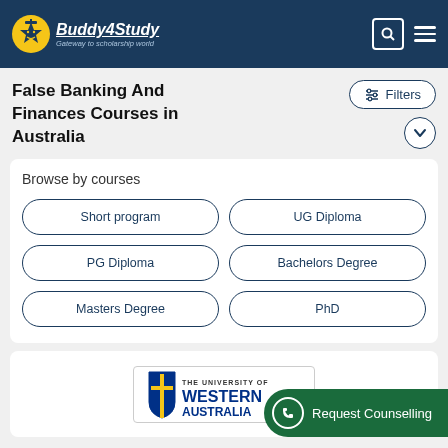Buddy4Study — Gateway to scholarship world
False Banking And Finances Courses in Australia
Filters
Browse by courses
Short program
UG Diploma
PG Diploma
Bachelors Degree
Masters Degree
PhD
[Figure (logo): The University of Western Australia logo]
Request Counselling